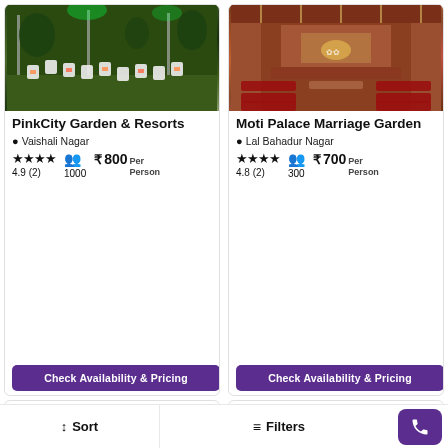[Figure (photo): Outdoor banquet garden venue at night with white covered chairs and green lighting]
PinkCity Garden & Resorts
📍 Vaishali Nagar
★★★★ 4.9 (2)  👥 1000  ₹ 800 Per Person
Check Availability & Pricing
[Figure (photo): Indoor marriage garden with red seating and decorated stage]
Moti Palace Marriage Garden
📍 Lal Bahadur Nagar
★★★★ 4.8 (2)  👥 300  ₹ 700 Per Person
Check Availability & Pricing
↑↓ Sort    ≡ Filters